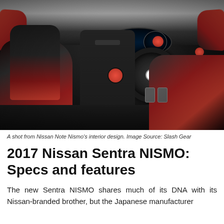[Figure (photo): Interior shot of a Nissan Note Nismo showing black and red sport seats, dashboard with navigation screen, steering wheel, gauges, center console with red gear knob, and side mirrors with red accents.]
A shot from Nissan Note Nismo's interior design. Image Source: Slash Gear
2017 Nissan Sentra NISMO: Specs and features
The new Sentra NISMO shares much of its DNA with its Nissan-branded brother, but the Japanese manufacturer